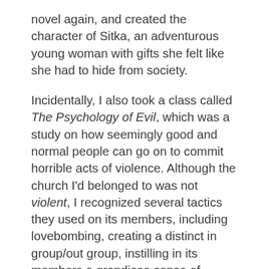novel again, and created the character of Sitka, an adventurous young woman with gifts she felt like she had to hide from society.
Incidentally, I also took a class called The Psychology of Evil, which was a study on how seemingly good and normal people can go on to commit horrible acts of violence. Although the church I'd belonged to was not violent, I recognized several tactics they used on its members, including lovebombing, creating a distinct in group/out group, instilling in its members a grandiose sense of purpose, and severing connections with those outside the group. This gave me pause as I continued writing–what if the world wasn't split into good and evil like I'd been led to believe?
What if our human need for love and belonging was a double-edged sword, one that could lead individuals